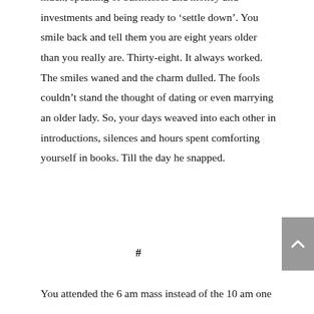much, speaking of businesses and money and investments and being ready to ‘settle down’. You smile back and tell them you are eight years older than you really are. Thirty-eight. It always worked. The smiles waned and the charm dulled. The fools couldn’t stand the thought of dating or even marrying an older lady. So, your days weaved into each other in introductions, silences and hours spent comforting yourself in books. Till the day he snapped.
#
You attended the 6 am mass instead of the 10 am one